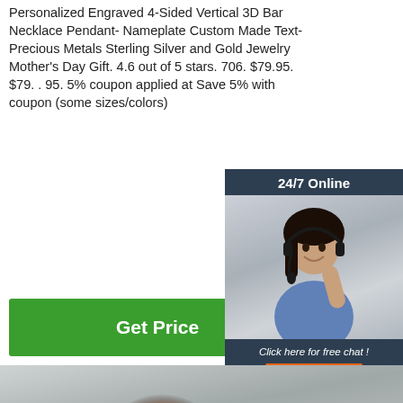Personalized Engraved 4-Sided Vertical 3D Bar Necklace Pendant- Nameplate Custom Made Text- Precious Metals Sterling Silver and Gold Jewelry Mother's Day Gift. 4.6 out of 5 stars. 706. $79.95. $79. . 95. 5% coupon applied at Save 5% with coupon (some sizes/colors)
[Figure (photo): Customer service representative with headset, 24/7 Online chat widget with dark blue background. Includes 'Click here for free chat!' text and orange QUOTATION button.]
[Figure (other): Green Get Price button]
[Figure (photo): Steel metal plates stacked, showing metallic gray surface with rust spots. TOP badge visible in orange in lower right.]